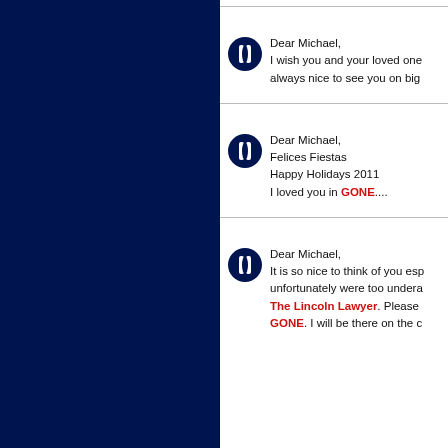Dear Michael, I wish you and your loved ones... always nice to see you on big...
Dear Michael, Felices Fiestas Happy Holidays 2011 I loved you in GONE....
Dear Michael, It is so nice to think of you esp... unfortunately were too undera... The Lincoln Lawyer. Please... GONE. I will be there on the c...